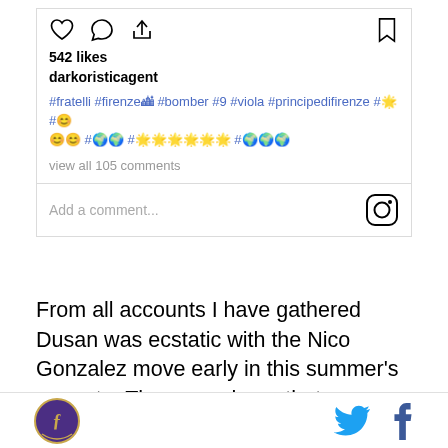[Figure (screenshot): Instagram post card showing heart, comment, share icons, 542 likes, username darkoristicagent, hashtags including #fratelli #firenze #bomber #9 #viola #principedifirenze and emoji hashtags, view all 105 comments, add a comment field with Instagram logo]
From all accounts I have gathered Dusan was ecstatic with the Nico Gonzalez move early in this summer's mercato. There was hope that Fiorentina would surround him with talent to make a push for Europe, if not the Champions League itself. He felt that strongly
Footer with Fiorentina crest logo, Twitter bird icon, Facebook f icon